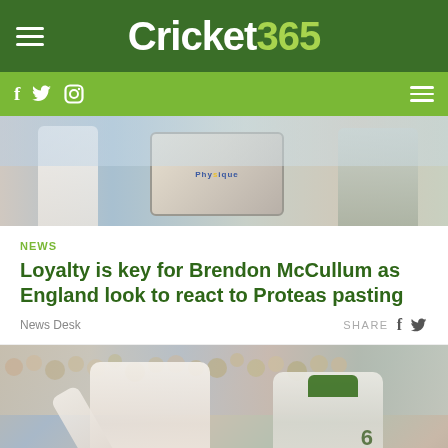Cricket365
[Figure (photo): Cricket players on field, equipment visible including Physique branded items in background]
NEWS
Loyalty is key for Brendon McCullum as England look to react to Proteas pasting
News Desk
SHARE
[Figure (photo): South Africa cricket players celebrating on field during Test match, bowler pumping fist in celebration with crowd in background]